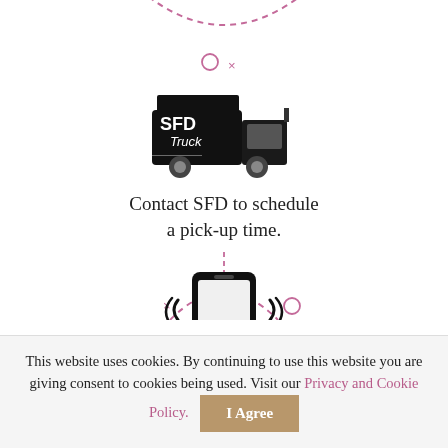[Figure (infographic): Top portion: dashed pink arc with circle and x marks at top. Below: black SFD Truck delivery truck icon. Below truck: text 'Contact SFD to schedule a pick-up time.' Then a vertical dashed pink arrow pointing downward. At bottom portion: dashed pink semicircle arc with x and circle marks, and a black smartphone icon with wifi/signal waves on either side.]
This website uses cookies. By continuing to use this website you are giving consent to cookies being used. Visit our Privacy and Cookie Policy.
I Agree